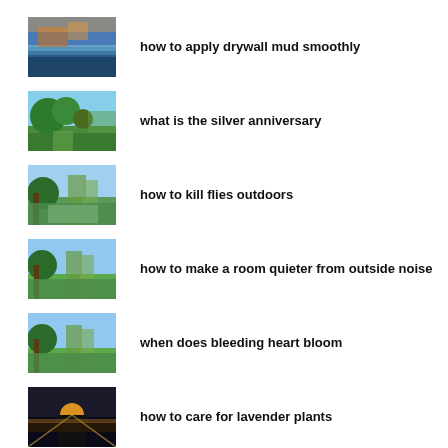how to apply drywall mud smoothly
what is the silver anniversary
how to kill flies outdoors
how to make a room quieter from outside noise
when does bleeding heart bloom
how to care for lavender plants